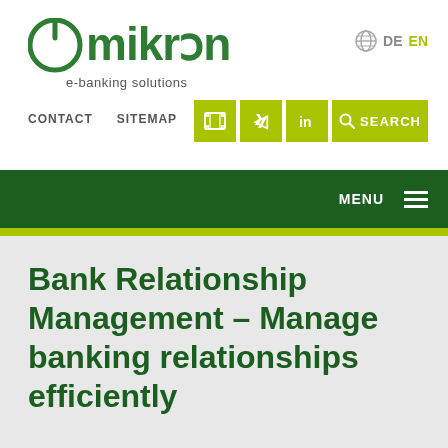[Figure (logo): Omikron e-banking solutions logo with green circular power-button O and green text]
DE EN
CONTACT   SITEMAP
[Figure (infographic): Green social/search buttons: film icon, Xing icon, LinkedIn icon, Search button]
MENU
Bank Relationship Management – Manage banking relationships efficiently